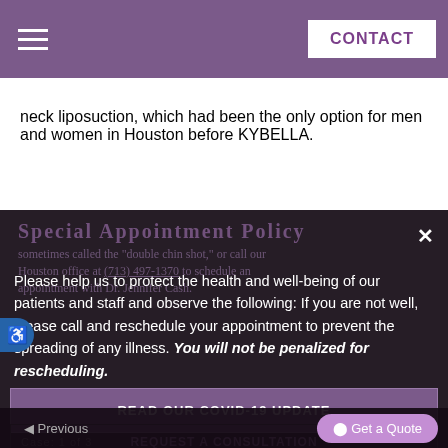CONTACT
neck liposuction, which had been the only option for men and women in Houston before KYBELLA.
Special Appointment Policy
Please help us to protect the health and well-being of our patients and staff and observe the following: If you are not well, please call and reschedule your appointment to prevent the spreading of any illness. You will not be penalized for rescheduling.
READ OUR COVID-19 UPDATE
REQUEST A CONSULTATION
Previous
⬤ Get a Quote